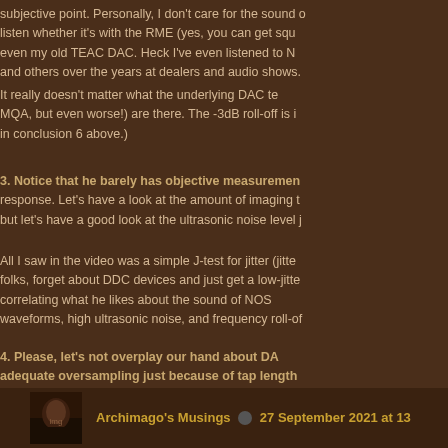subjective point. Personally, I don't care for the sound of listen whether it's with the RME (yes, you can get squ even my old TEAC DAC. Heck I've even listened to N and others over the years at dealers and audio shows.
It really doesn't matter what the underlying DAC te MQA, but even worse!) are there. The -3dB roll-off is i in conclusion 6 above.)
3. Notice that he barely has objective measuremen response. Let's have a look at the amount of imaging t but let's have a good look at the ultrasonic noise level j
All I saw in the video was a simple J-test for jitter (jitte folks, forget about DDC devices and just get a low-jitte correlating what he likes about the sound of NOS waveforms, high ultrasonic noise, and frequency roll-of
4. Please, let's not overplay our hand about DA adequate oversampling just because of tap length tap filters and stuff, including doing it in software (like P
Archimago's Musings  27 September 2021 at 13